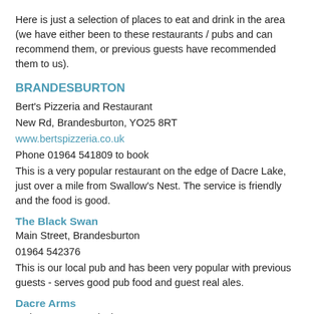Here is just a selection of places to eat and drink in the area (we have either been to these restaurants / pubs and can recommend them, or previous guests have recommended them to us).
BRANDESBURTON
Bert's Pizzeria and Restaurant
New Rd, Brandesburton, YO25 8RT
www.bertspizzeria.co.uk
Phone 01964 541809 to book
This is a very popular restaurant on the edge of Dacre Lake, just over a mile from Swallow's Nest. The service is friendly and the food is good.
The Black Swan
Main Street, Brandesburton
01964 542376
This is our local pub and has been very popular with previous guests - serves good pub food and guest real ales.
Dacre Arms
Main Street, Brandesburton
www.dacrearms.co.uk